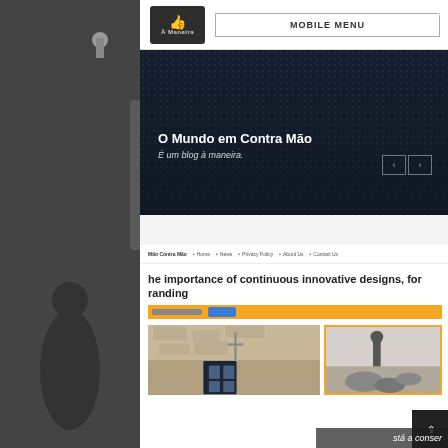[Figure (screenshot): Background blurred grayscale airport/cafe photo with silhouettes of people]
MOBILE MENU
O Mundo em Contra Mão
É um blog à maneira.
[Figure (screenshot): Navigation bar with links: Mão Contra Mão, Home, News, Privacy Policy, About Us, Contact Us]
he importance of continuous innovative designs, for randing
[Figure (screenshot): Orange bar with input field and blue button]
[Figure (photo): Two images: left showing a stone building with a window, right showing a person standing on rocks with orange border]